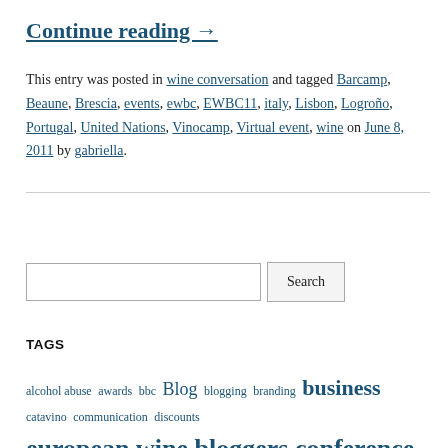Continue reading →
This entry was posted in wine conversation and tagged Barcamp, Beaune, Brescia, events, ewbc, EWBC11, italy, Lisbon, Logroño, Portugal, United Nations, Vinocamp, Virtual event, wine on June 8, 2011 by gabriella.
Search
TAGS
alcohol abuse awards bbc Blog blogging branding business catavino communication discounts european wine bloggers conference events ewbc facebook food google iPhone legislation london